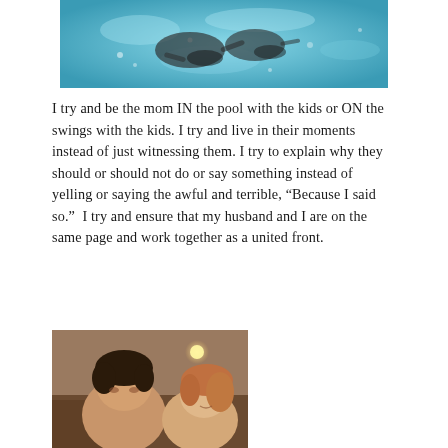[Figure (photo): Underwater photo of children swimming in a pool, visible from above/side, turquoise blue water with bubbles and light reflections]
I try and be the mom IN the pool with the kids or ON the swings with the kids. I try and live in their moments instead of just witnessing them. I try to explain why they should or should not do or say something instead of yelling or saying the awful and terrible, “Because I said so.”  I try and ensure that my husband and I are on the same page and work together as a united front.
[Figure (photo): A couple taking a selfie, man with dark hair in foreground and woman with reddish-blonde hair beside him, indoor restaurant or bar setting with warm lighting]